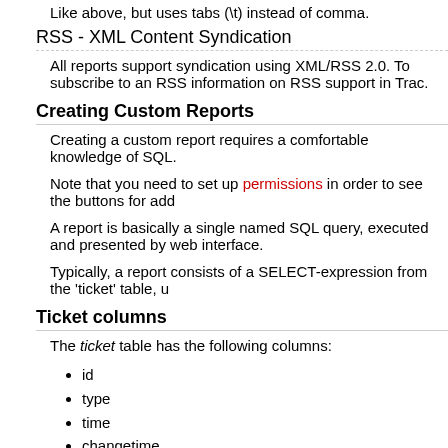Like above, but uses tabs (\t) instead of comma.
RSS - XML Content Syndication
All reports support syndication using XML/RSS 2.0. To subscribe to an RSS information on RSS support in Trac.
Creating Custom Reports
Creating a custom report requires a comfortable knowledge of SQL.
Note that you need to set up permissions in order to see the buttons for add
A report is basically a single named SQL query, executed and presented by web interface.
Typically, a report consists of a SELECT-expression from the 'ticket' table, u
Ticket columns
The ticket table has the following columns:
id
type
time
changetime
component
severity
priority
owner
reporter
cc
version
milestone
status